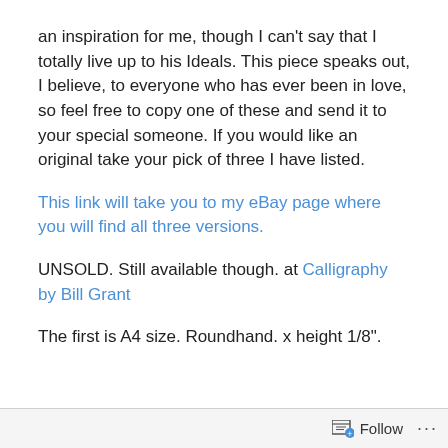an inspiration for me, though I can't say that I totally live up to his Ideals.  This piece speaks out, I believe, to everyone who has ever been in love, so feel free to copy one of these and send it to your special someone.  If you would like an original take your pick of three I have listed.
This link will take you to my eBay page where you will find all three versions.
UNSOLD.   Still available though. at  Calligraphy by Bill Grant
The first is A4 size.  Roundhand.  x height 1/8”.
Follow ...